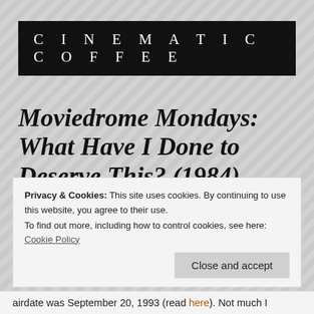CINEMATICCOFFEE
Moviedrome Mondays: What Have I Done to Deserve This? (1984)
by John Charet
May 9, 2021
Privacy & Cookies: This site uses cookies. By continuing to use this website, you agree to their use. To find out more, including how to control cookies, see here: Cookie Policy
Close and accept
airdate was September 20, 1993 (read here). Not much I